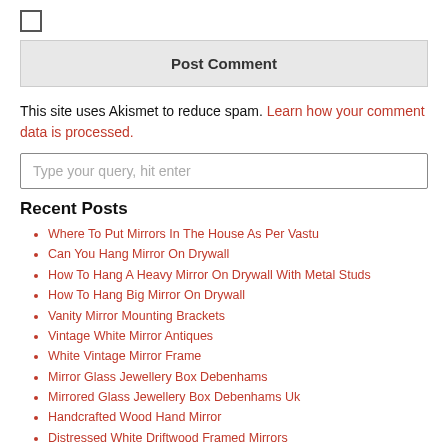□
Post Comment
This site uses Akismet to reduce spam. Learn how your comment data is processed.
Type your query, hit enter
Recent Posts
Where To Put Mirrors In The House As Per Vastu
Can You Hang Mirror On Drywall
How To Hang A Heavy Mirror On Drywall With Metal Studs
How To Hang Big Mirror On Drywall
Vanity Mirror Mounting Brackets
Vintage White Mirror Antiques
White Vintage Mirror Frame
Mirror Glass Jewellery Box Debenhams
Mirrored Glass Jewellery Box Debenhams Uk
Handcrafted Wood Hand Mirror
Distressed White Driftwood Framed Mirrors
How To Set Your Wing Mirrors Uk